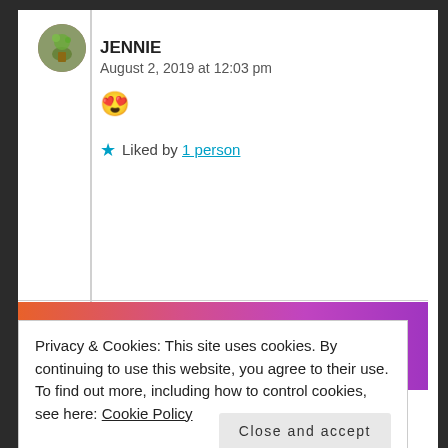JENNIE
August 2, 2019 at 12:03 pm
😍
★ Liked by 1 person
[Figure (photo): Tumblr banner with orange to pink gradient background and white 'tumblr' text with decorative icons]
Privacy & Cookies: This site uses cookies. By continuing to use this website, you agree to their use.
To find out more, including how to control cookies, see here: Cookie Policy
Close and accept